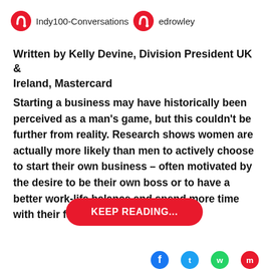Indy100-Conversations   edrowley
Written by Kelly Devine, Division President UK & Ireland, Mastercard
Starting a business may have historically been perceived as a man's game, but this couldn't be further from reality. Research shows women are actually more likely than men to actively choose to start their own business – often motivated by the desire to be their own boss or to have a better work-life balance and spend more time with their family.
KEEP READING...